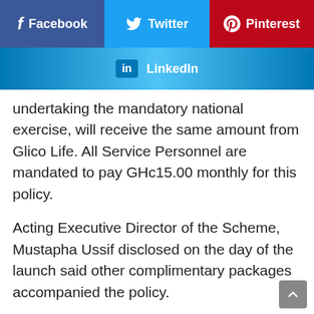[Figure (infographic): Social media share buttons: Facebook (blue-purple), Twitter (blue), Pinterest (red) in a row, and LinkedIn bar below]
undertaking the mandatory national exercise, will receive the same amount from Glico Life. All Service Personnel are mandated to pay GHc15.00 monthly for this policy.
Acting Executive Director of the Scheme, Mustapha Ussif disclosed on the day of the launch said other complimentary packages accompanied the policy.
He said, "Personnel, as part of the insurance package would be entitled to other complimentary